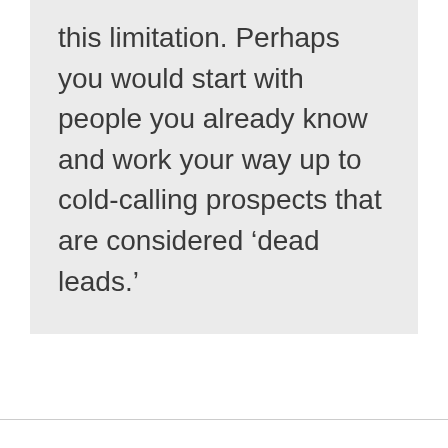this limitation. Perhaps you would start with people you already know and work your way up to cold-calling prospects that are considered ‘dead leads.’